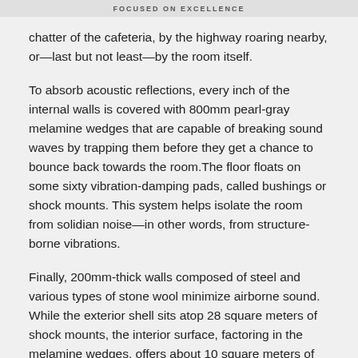FOCUSED ON EXCELLENCE
chatter of the cafeteria, by the highway roaring nearby, or—last but not least—by the room itself.
To absorb acoustic reflections, every inch of the internal walls is covered with 800mm pearl-gray melamine wedges that are capable of breaking sound waves by trapping them before they get a chance to bounce back towards the room.The floor floats on some sixty vibration-damping pads, called bushings or shock mounts. This system helps isolate the room from solidian noise—in other words, from structure-borne vibrations.
Finally, 200mm-thick walls composed of steel and various types of stone wool minimize airborne sound. While the exterior shell sits atop 28 square meters of shock mounts, the interior surface, factoring in the melamine wedges, offers about 10 square meters of treasured quietude for the measurements to come. Here's a timelapse of the